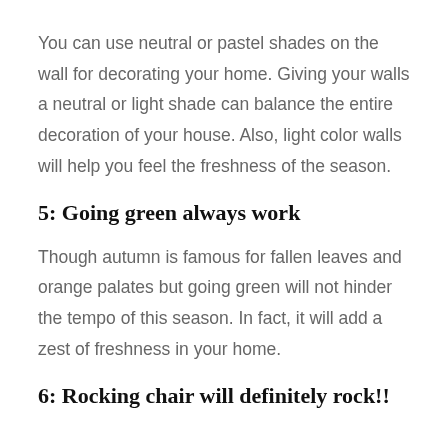You can use neutral or pastel shades on the wall for decorating your home. Giving your walls a neutral or light shade can balance the entire decoration of your house. Also, light color walls will help you feel the freshness of the season.
5: Going green always work
Though autumn is famous for fallen leaves and orange palates but going green will not hinder the tempo of this season. In fact, it will add a zest of freshness in your home.
6: Rocking chair will definitely rock!!